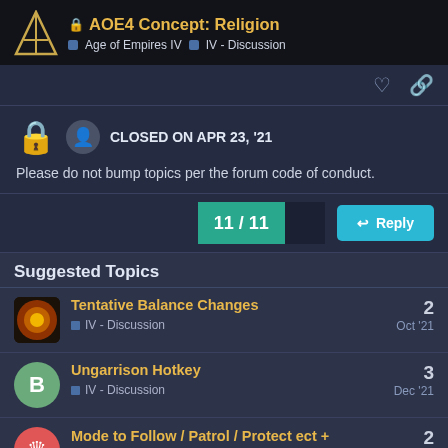AOE4 Concept: Religion | Age of Empires IV · IV - Discussion
CLOSED ON APR 23, '21
Please do not bump topics per the forum code of conduct.
11 / 11
Reply
Suggested Topics
Tentative Balance Changes
IV - Discussion
2
Oct '21
Ungarrison Hotkey
IV - Discussion
3
Dec '21
Mode to Follow / Patrol / Protect ect + Edition mode to create campaign that and challenge other players
2